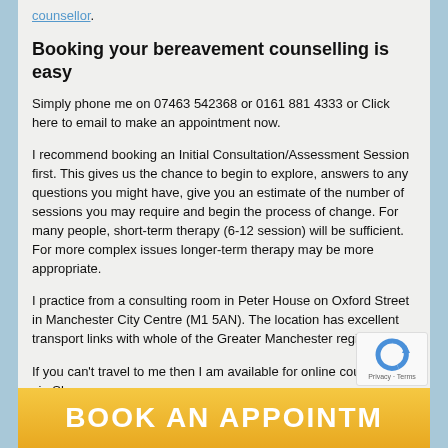counsellor.
Booking your bereavement counselling is easy
Simply phone me on 07463 542368 or 0161 881 4333 or Click here to email to make an appointment now.
I recommend booking an Initial Consultation/Assessment Session first. This gives us the chance to begin to explore, answers to any questions you might have, give you an estimate of the number of sessions you may require and begin the process of change. For many people, short-term therapy (6-12 session) will be sufficient. For more complex issues longer-term therapy may be more appropriate.
I practice from a consulting room in Peter House on Oxford Street in Manchester City Centre (M1 5AN). The location has excellent transport links with whole of the Greater Manchester region.
If you can't travel to me then I am available for online counselling via Skype.